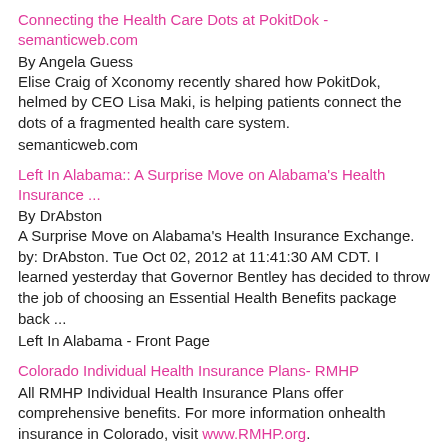Connecting the Health Care Dots at PokitDok - semanticweb.com
By Angela Guess
Elise Craig of Xconomy recently shared how PokitDok, helmed by CEO Lisa Maki, is helping patients connect the dots of a fragmented health care system.
semanticweb.com
Left In Alabama:: A Surprise Move on Alabama's Health Insurance ...
By DrAbston
A Surprise Move on Alabama's Health Insurance Exchange. by: DrAbston. Tue Oct 02, 2012 at 11:41:30 AM CDT. I learned yesterday that Governor Bentley has decided to throw the job of choosing an Essential Health Benefits package back ...
Left In Alabama - Front Page
Colorado Individual Health Insurance Plans- RMHP
All RMHP Individual Health Insurance Plans offer comprehensive benefits. For more information onhealth insurance in Colorado, visit www.RMHP.org.